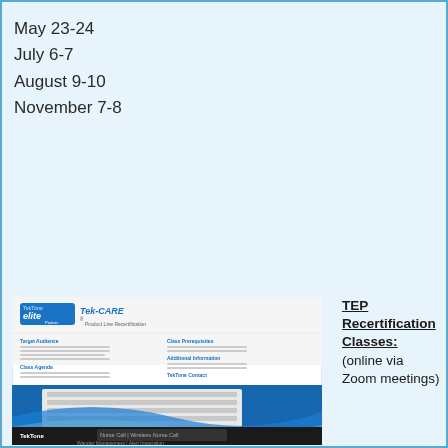May 23-24
July 6-7
August 9-10
November 7-8
[Figure (photo): TekTone Elite Partner and Tek-CARE Product Line Recertification brochure image showing nurse call equipment and product details]
TEP Recertification Classes: (online via Zoom meetings)